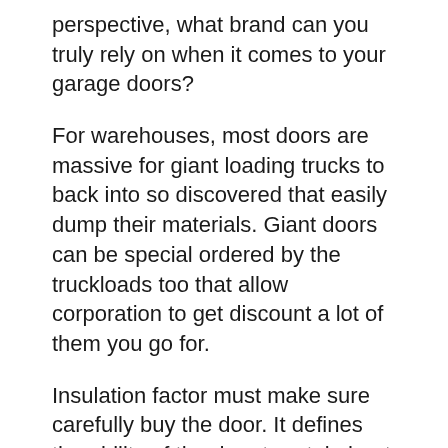perspective, what brand can you truly rely on when it comes to your garage doors?
For warehouses, most doors are massive for giant loading trucks to back into so discovered that easily dump their materials. Giant doors can be special ordered by the truckloads too that allow corporation to get discount a lot of them you go for.
Insulation factor must make sure carefully buy the door. It defines the ability of the door to retain heat or cold within of. It becomes even more important for those people who reside in the areas with extreme climates in summers or winter seasons.
Hundreds of years ago, GARAGE DOORS